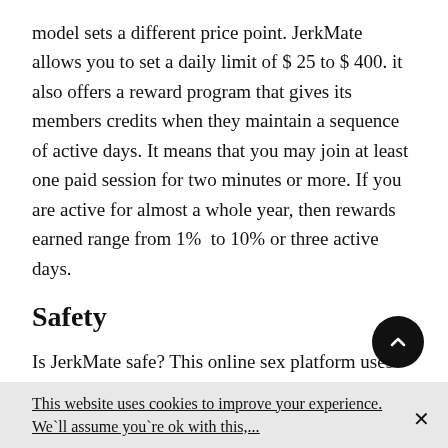model sets a different price point. JerkMate allows you to set a daily limit of $ 25 to $ 400. it also offers a reward program that gives its members credits when they maintain a sequence of active days. It means that you may join at least one paid session for two minutes or more. If you are active for almost a whole year, then rewards earned range from 1%  to 10% or three active days.
Safety
Is JerkMate safe? This online sex platform uses SSL certificates. This means you can be sure that your data is strongly protected. This resource works with cybersecurity leaders and is McAfee and VeriSign
This website uses cookies to improve your experience. We`ll assume you`re ok with this,...